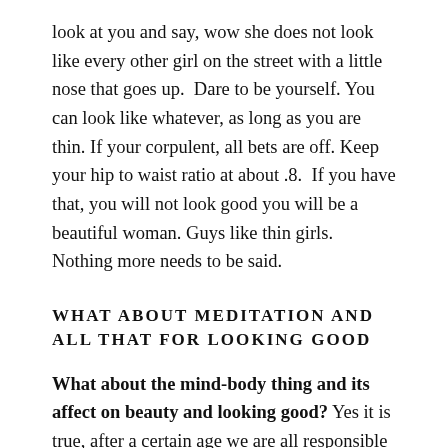look at you and say, wow she does not look like every other girl on the street with a little nose that goes up.  Dare to be yourself. You can look like whatever, as long as you are thin. If your corpulent, all bets are off. Keep your hip to waist ratio at about .8.  If you have that, you will not look good you will be a beautiful woman. Guys like thin girls. Nothing more needs to be said.
WHAT ABOUT MEDITATION AND ALL THAT FOR LOOKING GOOD
What about the mind-body thing and its affect on beauty and looking good? Yes it is true, after a certain age we are all responsible for the